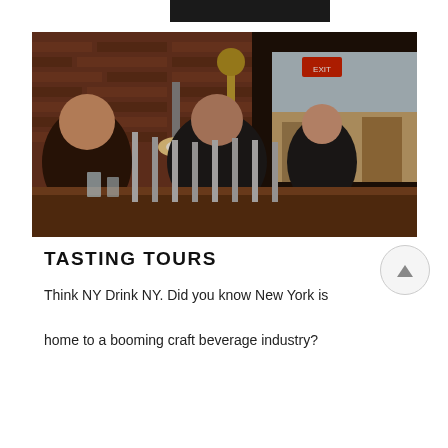[Figure (photo): Interior of a craft beer bar with brick walls, people sitting at the bar with beer taps in the foreground, warm lighting]
TASTING TOURS
Think NY Drink NY. Did you know New York is home to a booming craft beverage industry?